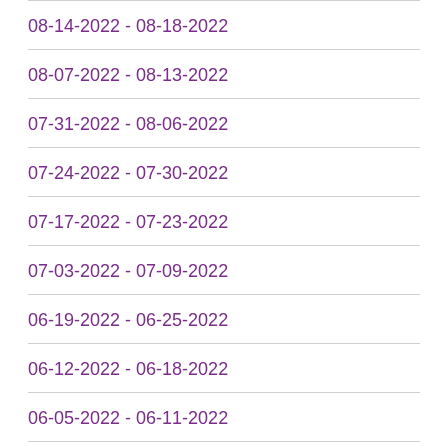08-14-2022 - 08-18-2022
08-07-2022 - 08-13-2022
07-31-2022 - 08-06-2022
07-24-2022 - 07-30-2022
07-17-2022 - 07-23-2022
07-03-2022 - 07-09-2022
06-19-2022 - 06-25-2022
06-12-2022 - 06-18-2022
06-05-2022 - 06-11-2022